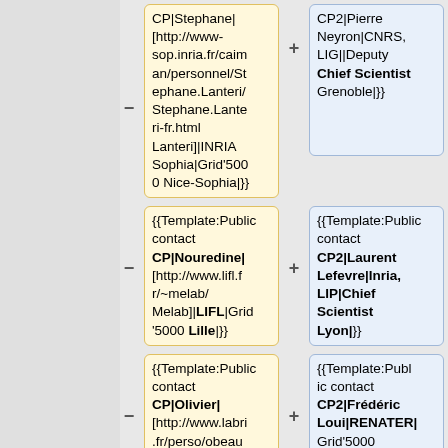{{Template:Public contact CP|Stephane|[http://www-sop.inria.fr/caiman/personnel/Stephane.Lanteri/Stephane.Lanteri-fr.html Lanteri]|INRIA Sophia|Grid'5000 Nice-Sophia|}}
{{Template:Public contact CP2|Pierre Neyron|CNRS, LIG||Deputy Chief Scientist Grenoble|}}
{{Template:Public contact CP|Nouredine|[http://www.lifl.fr/~melab/Melab]|LIFL|Grid'5000 Lille|}}
{{Template:Public contact CP2|Laurent Lefevre|Inria, LIP|Chief Scientist Lyon|}}
{{Template:Public contact CP|Olivier|[http://www.labri.fr/perso/obeau...
{{Template:Public contact CP2|Frédéric Loui|RENATER|Grid'5000...